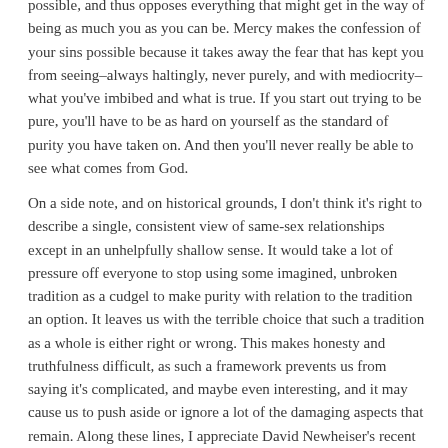possible, and thus opposes everything that might get in the way of being as much you as you can be. Mercy makes the confession of your sins possible because it takes away the fear that has kept you from seeing–always haltingly, never purely, and with mediocrity–what you've imbibed and what is true. If you start out trying to be pure, you'll have to be as hard on yourself as the standard of purity you have taken on. And then you'll never really be able to see what comes from God.
On a side note, and on historical grounds, I don't think it's right to describe a single, consistent view of same-sex relationships except in an unhelpfully shallow sense. It would take a lot of pressure off everyone to stop using some imagined, unbroken tradition as a cudgel to make purity with relation to the tradition an option. It leaves us with the terrible choice that such a tradition as a whole is either right or wrong. This makes honesty and truthfulness difficult, as such a framework prevents us from saying it's complicated, and maybe even interesting, and it may cause us to push aside or ignore a lot of the damaging aspects that remain. Along these lines, I appreciate David Newheiser's recent article on this in the JRE.